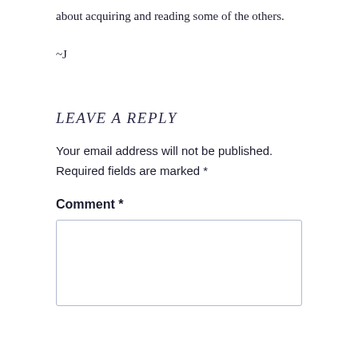about acquiring and reading some of the others.
~J
LEAVE A REPLY
Your email address will not be published. Required fields are marked *
Comment *